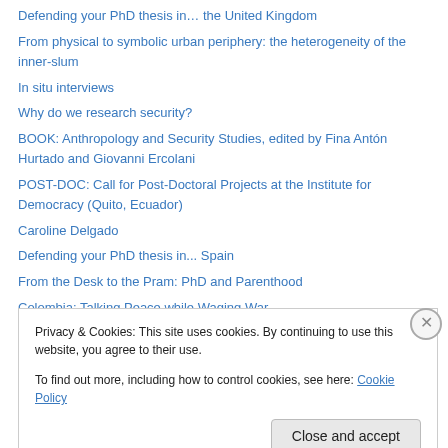Defending your PhD thesis in… the United Kingdom
From physical to symbolic urban periphery: the heterogeneity of the inner-slum
In situ interviews
Why do we research security?
BOOK: Anthropology and Security Studies, edited by Fina Antón Hurtado and Giovanni Ercolani
POST-DOC: Call for Post-Doctoral Projects at the Institute for Democracy (Quito, Ecuador)
Caroline Delgado
Defending your PhD thesis in... Spain
From the Desk to the Pram: PhD and Parenthood
Colombia: Talking Peace while Waging War
Privacy & Cookies: This site uses cookies. By continuing to use this website, you agree to their use. To find out more, including how to control cookies, see here: Cookie Policy
Close and accept